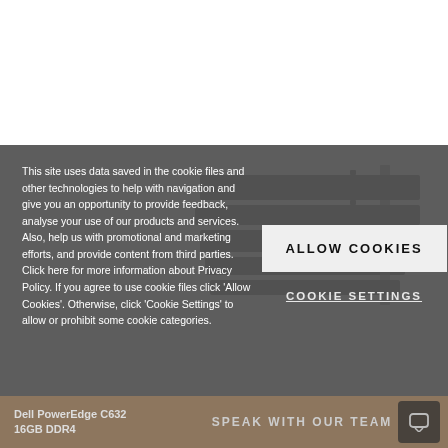[Figure (screenshot): Screenshot of a website with a cookie consent overlay. The top portion shows a white background. The lower portion shows a grey overlay with a server hardware image in the background. On the left is cookie consent text. On the right are two buttons: 'ALLOW COOKIES' and 'COOKIE SETTINGS'. At the bottom is a partially visible bar with 'Dell PowerEdge C632 16GB DDR4' text and a 'SPEAK WITH OUR TEAM' chat widget.]